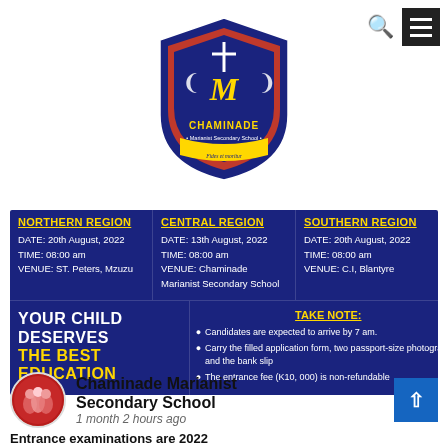[Figure (logo): Chaminade Marianist Secondary School shield logo with cross, laurel branches, and banner reading 'CHAMINADE Marianist Secondary School Fides et moritur']
[Figure (infographic): Dark blue banner with three regional columns (NORTHERN REGION, CENTRAL REGION, SOUTHERN REGION) showing exam dates, times, venues; slogan 'YOUR CHILD DESERVES THE BEST EDUCATION'; TAKE NOTE section with three bullet points]
[Figure (photo): Circular avatar photo of school students/group in red]
Chaminade Marianist Secondary School
1 month 2 hours ago